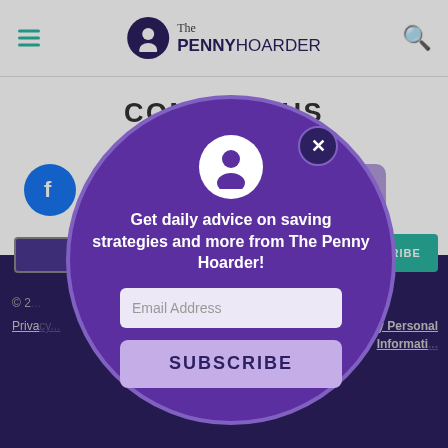The Penny Hoarder
CONTACT US
[Figure (screenshot): Social media icons row: Facebook (blue circle), several purple circles, red lightning bolt icon, purple RSS icon]
[Figure (infographic): Purple circular popup modal with Penny Hoarder logo avatar, close button (X), text 'Get daily advice on saving strategies and more from The Penny Hoarder!', email address input field, and SUBSCRIBE button]
© 2... Privacy... My Personal Information...